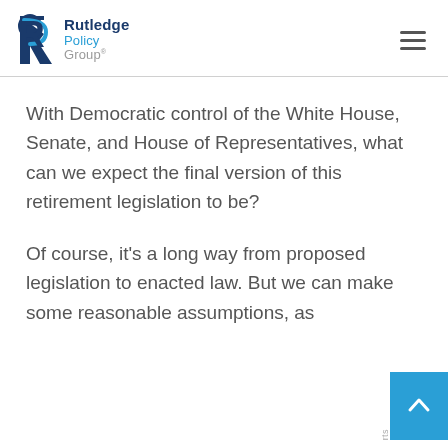Rutledge Policy Group
With Democratic control of the White House, Senate, and House of Representatives, what can we expect the final version of this retirement legislation to be?
Of course, it's a long way from proposed legislation to enacted law. But we can make some reasonable assumptions, as